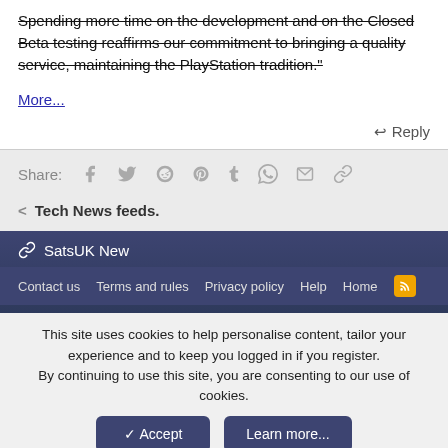Spending more time on the development and on the Closed Beta testing reaffirms our commitment to bringing a quality service, maintaining the PlayStation tradition."
More...
↩ Reply
Share:
< Tech News feeds.
SatsUK New
Contact us   Terms and rules   Privacy policy   Help   Home
This site uses cookies to help personalise content, tailor your experience and to keep you logged in if you register. By continuing to use this site, you are consenting to our use of cookies.
Accept
Learn more...